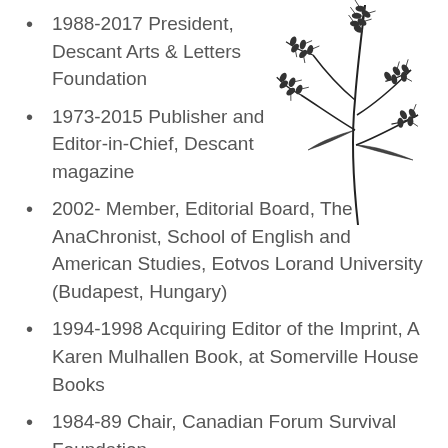1988-2017 President, Descant Arts & Letters Foundation
1973-2015 Publisher and Editor-in-Chief, Descant magazine
[Figure (illustration): Black and white illustration of wheat or grain stalks with drooping seed heads]
2002- Member, Editorial Board, The AnaChronist, School of English and American Studies, Eotvos Lorand University (Budapest, Hungary)
1994-1998 Acquiring Editor of the Imprint, A Karen Mulhallen Book, at Somerville House Books
1984-89 Chair, Canadian Forum Survival Foundation
1974-1989 Arts Features Editor, Canadian